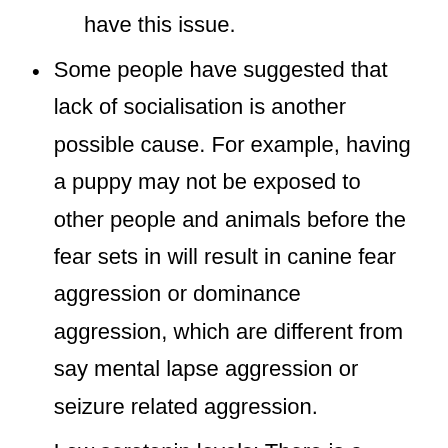have this issue.
Some people have suggested that lack of socialisation is another possible cause. For example, having a puppy may not be exposed to other people and animals before the fear sets in will result in canine fear aggression or dominance aggression, which are different from say mental lapse aggression or seizure related aggression.
Low serotonin levels: There is a theory